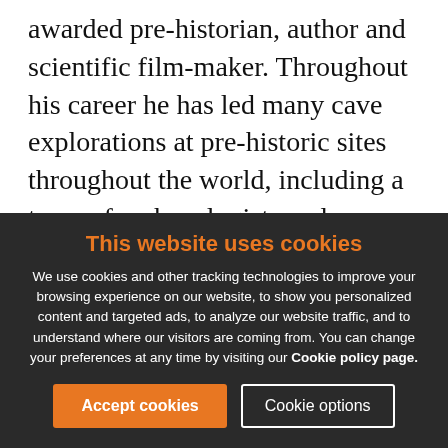awarded pre-historian, author and scientific film-maker. Throughout his career he has led many cave explorations at pre-historic sites throughout the world, including a team of archaeologists and paleoanthropologists who discovered pre-Neanderthal human remains. He created a renowned laboratory to study prehistoric human remains, their origins and ancestors: “Thank you for the booklet and DVD ‘The Human Condition’
This website uses cookies
We use cookies and other tracking technologies to improve your browsing experience on our website, to show you personalized content and targeted ads, to analyze our website traffic, and to understand where our visitors are coming from. You can change your preferences at any time by visiting our Cookie policy page.